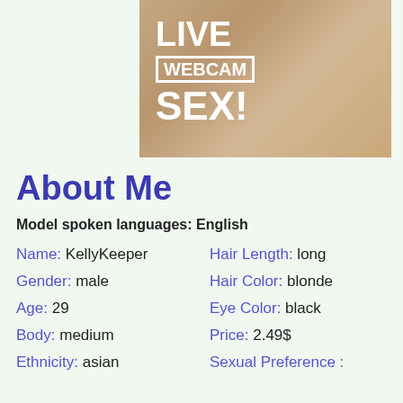[Figure (photo): Banner image of a blonde person with overlaid text reading LIVE WEBCAM SEX!]
About Me
Model spoken languages: English
| Name: KellyKeeper | Hair Length: long |
| Gender: male | Hair Color: blonde |
| Age: 29 | Eye Color: black |
| Body: medium | Price: 2.49$ |
| Ethnicity: asian | Sexual Preference : |